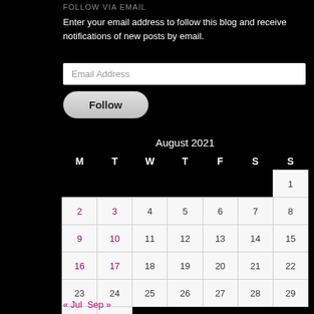FOLLOW VIA EMAIL
Enter your email address to follow this blog and receive notifications of new posts by email.
Email Address
Follow
| August 2021 |  |  |  |  |  |  |
| --- | --- | --- | --- | --- | --- | --- |
| M | T | W | T | F | S | S |
|  |  |  |  |  |  | 1 |
| 2 | 3 | 4 | 5 | 6 | 7 | 8 |
| 9 | 10 | 11 | 12 | 13 | 14 | 15 |
| 16 | 17 | 18 | 19 | 20 | 21 | 22 |
| 23 | 24 | 25 | 26 | 27 | 28 | 29 |
| 30 | 31 |  |  |  |  |  |
« Jul  Sep »